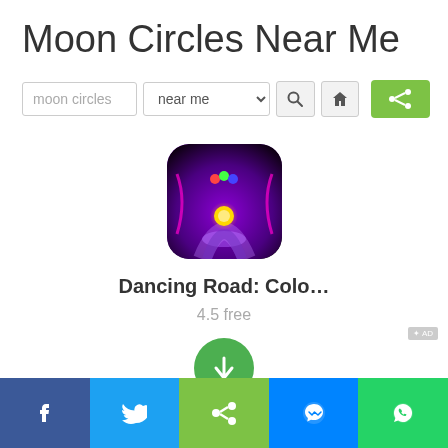Moon Circles Near Me
[Figure (screenshot): Search interface with text input 'moon circles', dropdown 'near me', search icon button, home icon button, and green share button]
[Figure (screenshot): App card showing Dancing Road: Colo... game icon (purple/dark gradient with glowing ball on road), rating 4.5 free, and green download button]
[Figure (screenshot): Bottom social share bar with Facebook, Twitter, share, Messenger, and WhatsApp buttons]